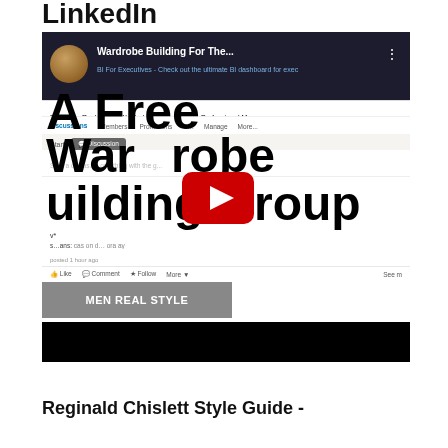LinkedIn
[Figure (screenshot): Screenshot of a YouTube video thumbnail for 'Wardrobe Building For The...' overlaid on a LinkedIn group page for 'Real Men Real Style - Wardrobe Building for the Professional M'. The thumbnail shows a large bold overlay text 'A Free Wardrobe Building Group' with a YouTube play button. Below is a LinkedIn post area with a MEN REAL STYLE banner and a black video bar.]
Reginald Chislett Style Guide -